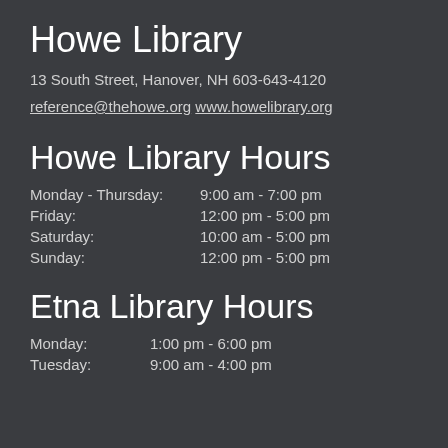Howe Library
13 South Street, Hanover, NH 603-643-4120
reference@thehowe.org www.howelibrary.org
Howe Library Hours
Monday - Thursday: 9:00 am - 7:00 pm
Friday: 12:00 pm - 5:00 pm
Saturday: 10:00 am - 5:00 pm
Sunday: 12:00 pm - 5:00 pm
Etna Library Hours
Monday: 1:00 pm - 6:00 pm
Tuesday: 9:00 am - 4:00 pm